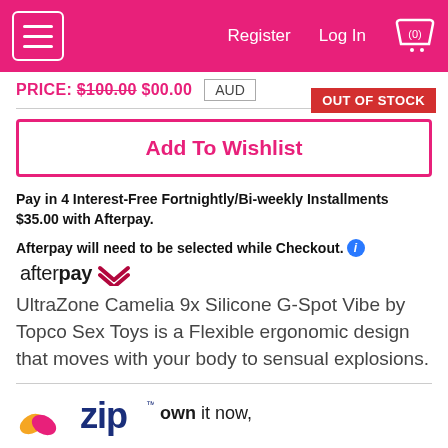Register  Log In  (0)
PRICE: $100.00 $00.00   AUD   OUT OF STOCK
Add To Wishlist
Pay in 4 Interest-Free Fortnightly/Bi-weekly Installments $35.00 with Afterpay.
Afterpay will need to be selected while Checkout.
[Figure (logo): Afterpay logo with stylized afterpay text and chevron icon]
UltraZone Camelia 9x Silicone G-Spot Vibe by Topco Sex Toys is a Flexible ergonomic design that moves with your body to sensual explosions.
[Figure (logo): Zip logo with orange/pink flower shape and blue 'zip' text with 'own it now,' tagline]